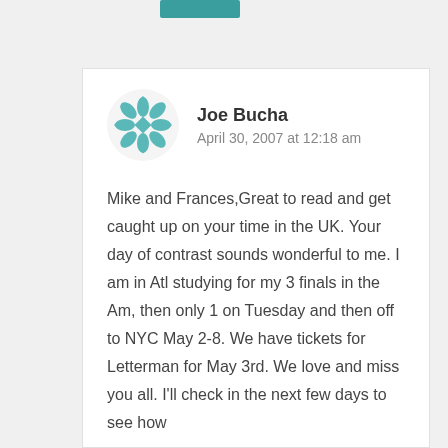[Figure (logo): Teal decorative geometric floral icon used as avatar for commenter Joe Bucha]
Joe Bucha
April 30, 2007 at 12:18 am
Mike and Frances,Great to read and get caught up on your time in the UK. Your day of contrast sounds wonderful to me. I am in Atl studying for my 3 finals in the Am, then only 1 on Tuesday and then off to NYC May 2-8. We have tickets for Letterman for May 3rd. We love and miss you all. I'll check in the next few days to see how